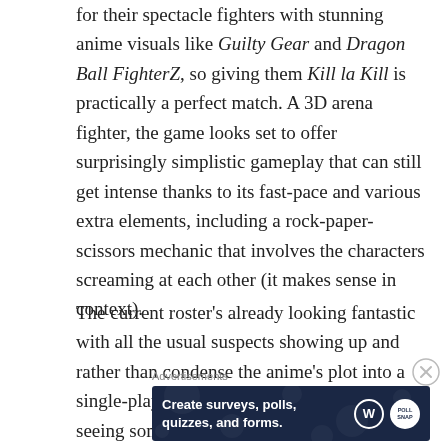for their spectacle fighters with stunning anime visuals like Guilty Gear and Dragon Ball FighterZ, so giving them Kill la Kill is practically a perfect match. A 3D arena fighter, the game looks set to offer surprisingly simplistic gameplay that can still get intense thanks to its fast-pace and various extra elements, including a rock-paper-scissors mechanic that involves the characters screaming at each other (it makes sense in context).
The current roster's already looking fantastic with all the usual suspects showing up and rather than condense the anime's plot into a single-player campaign, we'll instead be seeing some new content in the form of a
Advertisements
[Figure (other): Advertisement banner for WordPress survey/poll/quiz/form creation tool. Dark navy background with white bold text 'Create surveys, polls, quizzes, and forms.' with WordPress logo and a circular badge on the right.]